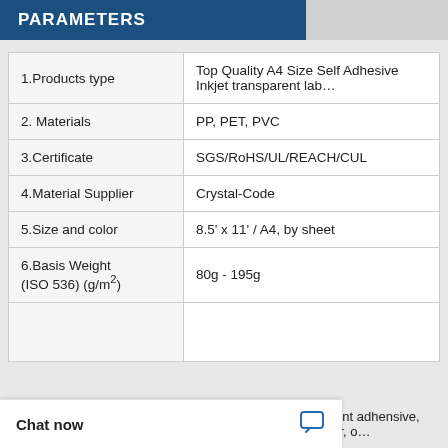PARAMETERS
| Parameter | Value |
| --- | --- |
| 1.Products type | Top Quality A4 Size Self Adhesive Inkjet transparent lab… |
| 2. Materials | PP, PET, PVC |
| 3.Certificate | SGS/RoHS/UL/REACH/CUL |
| 4.Material Supplier | Crystal-Code |
| 5.Size and color | 8.5' x 11' / A4, by sheet |
| 6.Basis Weight (ISO 536) (g/m²) | 80g - 195g |
| 7. | solvent adhensive,  water, o… |
Chat now